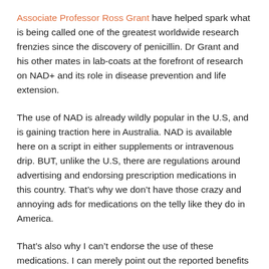Associate Professor Ross Grant have helped spark what is being called one of the greatest worldwide research frenzies since the discovery of penicillin. Dr Grant and his other mates in lab-coats at the forefront of research on NAD+ and its role in disease prevention and life extension.
The use of NAD is already wildly popular in the U.S, and is gaining traction here in Australia. NAD is available here on a script in either supplements or intravenous drip. BUT, unlike the U.S, there are regulations around advertising and endorsing prescription medications in this country. That’s why we don’t have those crazy and annoying ads for medications on the telly like they do in America.
That’s also why I can’t endorse the use of these medications. I can merely point out the reported benefits of the molecule and study findings.